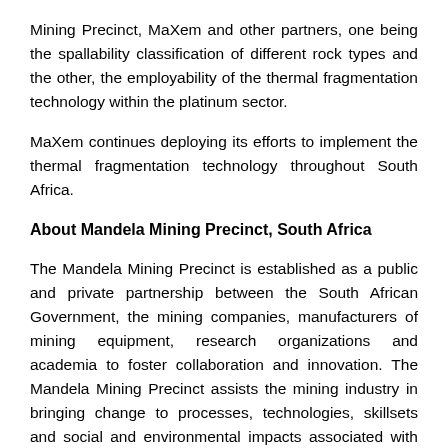Mining Precinct, MaXem and other partners, one being the spallability classification of different rock types and the other, the employability of the thermal fragmentation technology within the platinum sector.
MaXem continues deploying its efforts to implement the thermal fragmentation technology throughout South Africa.
About Mandela Mining Precinct, South Africa
The Mandela Mining Precinct is established as a public and private partnership between the South African Government, the mining companies, manufacturers of mining equipment, research organizations and academia to foster collaboration and innovation. The Mandela Mining Precinct assists the mining industry in bringing change to processes, technologies, skillsets and social and environmental impacts associated with current mining through the modernisation of mines via mechanisation and automation. The Mandela Mining Precinct